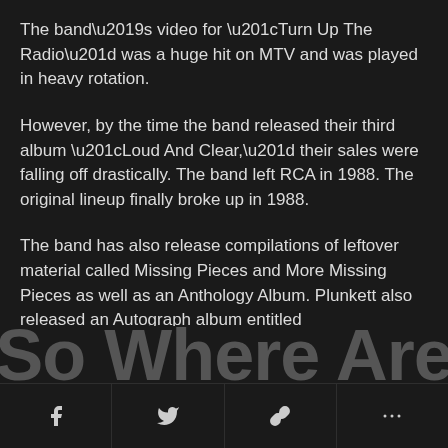The band’s video for “Turn Up The Radio” was a huge hit on MTV and was played in heavy rotation.
However, by the time the band released their third album “Loud And Clear,” their sales were falling off drastically. The band left RCA in 1988. The original lineup finally broke up in 1988.
The band has also release compilations of leftover material called Missing Pieces and More Missing Pieces as well as an Anthology Album. Plunkett also released an Autograph album entitled “Buzz” in 2003 of which he was the only original member.
So Where Are
f  [twitter]  [link]  ...